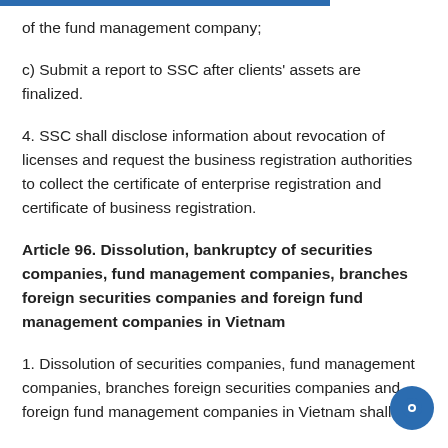of the fund management company;
c) Submit a report to SSC after clients' assets are finalized.
4. SSC shall disclose information about revocation of licenses and request the business registration authorities to collect the certificate of enterprise registration and certificate of business registration.
Article 96. Dissolution, bankruptcy of securities companies, fund management companies, branches foreign securities companies and foreign fund management companies in Vietnam
1. Dissolution of securities companies, fund management companies, branches foreign securities companies and foreign fund management companies in Vietnam shall